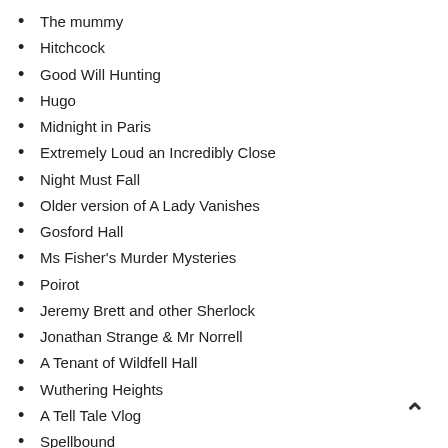The mummy
Hitchcock
Good Will Hunting
Hugo
Midnight in Paris
Extremely Loud an Incredibly Close
Night Must Fall
Older version of A Lady Vanishes
Gosford Hall
Ms Fisher's Murder Mysteries
Poirot
Jeremy Brett and other Sherlock
Jonathan Strange & Mr Norrell
A Tenant of Wildfell Hall
Wuthering Heights
A Tell Tale Vlog
Spellbound
October Skies